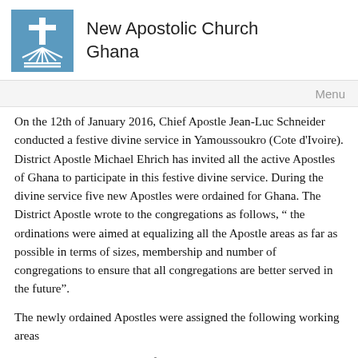[Figure (logo): New Apostolic Church logo: blue square with white cross and radiating lines above horizontal lines]
New Apostolic Church Ghana
Menu
On the 12th of January 2016, Chief Apostle Jean-Luc Schneider conducted a festive divine service in Yamoussoukro (Cote d'Ivoire). District Apostle Michael Ehrich has invited all the active Apostles of Ghana to participate in this festive divine service. During the divine service five new Apostles were ordained for Ghana. The District Apostle wrote to the congregations as follows, “ the ordinations were aimed at equalizing all the Apostle areas as far as possible in terms of sizes, membership and number of congregations to ensure that all congregations are better served in the future”.
The newly ordained Apostles were assigned the following working areas
Apostle Robert Asomani Kufuide...